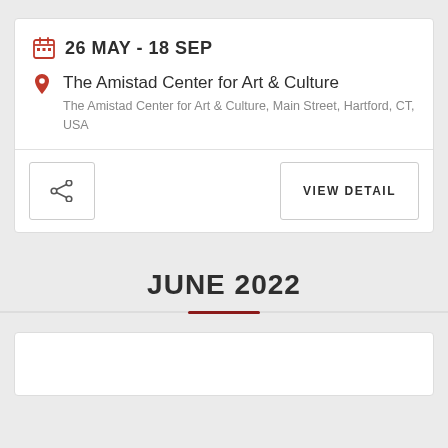26 MAY - 18 SEP
The Amistad Center for Art & Culture
The Amistad Center for Art & Culture, Main Street, Hartford, CT, USA
VIEW DETAIL
JUNE 2022